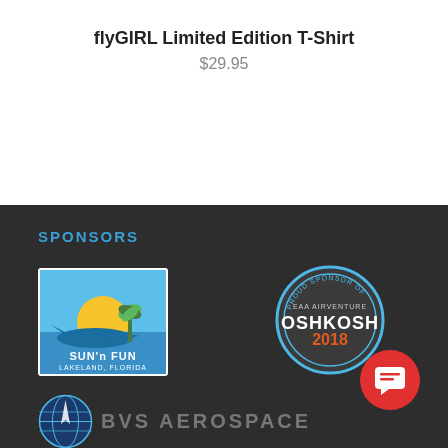flyGIRL Limited Edition T-Shirt
$29.95
SPONSORS
[Figure (logo): Sun 'n Fun Lakeland Florida airshow logo with airplane and palm tree]
[Figure (logo): Proud Sponsor of EAA AirVenture Oshkosh 2018 circular badge]
[Figure (logo): BVS Aerospace logo with globe icon and text]
[Figure (other): Red circular chat/support button with chat icon]